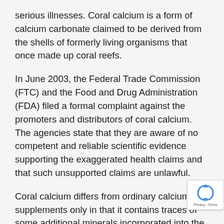serious illnesses. Coral calcium is a form of calcium carbonate claimed to be derived from the shells of formerly living organisms that once made up coral reefs.
In June 2003, the Federal Trade Commission (FTC) and the Food and Drug Administration (FDA) filed a formal complaint against the promoters and distributors of coral calcium. The agencies state that they are aware of no competent and reliable scientific evidence supporting the exaggerated health claims and that such unsupported claims are unlawful.
Coral calcium differs from ordinary calcium supplements only in that it contains traces of some additional minerals incorporated into the shells by the metabolic processes of the animals that formed them. It offers no extraordinary health benefits. Most experts recommend that individuals who need to take a calcium supplement for bone health take a purified preparation marketed by a